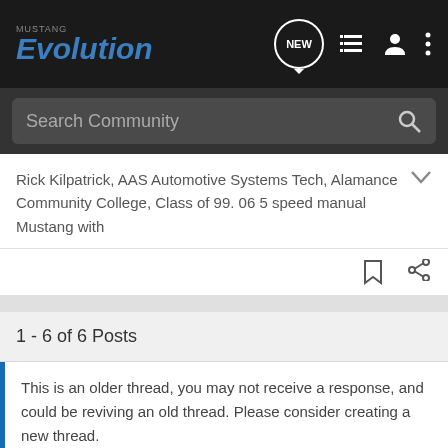Mustang Evolution
Search Community
Rick Kilpatrick, AAS Automotive Systems Tech, Alamance Community College, Class of 99. 06 5 speed manual Mustang with
1 - 6 of 6 Posts
This is an older thread, you may not receive a response, and could be reviving an old thread. Please consider creating a new thread.
Join the discussion
Continue with Facebook